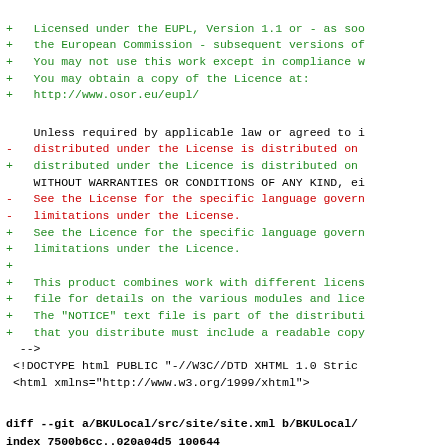+ Licensed under the EUPL, Version 1.1 or - as soo
+ the European Commission - subsequent versions of
+ You may not use this work except in compliance w
+ You may obtain a copy of the Licence at:
+ http://www.osor.eu/eupl/
Unless required by applicable law or agreed to i
- distributed under the License is distributed on
+ distributed under the Licence is distributed on
  WITHOUT WARRANTIES OR CONDITIONS OF ANY KIND, ei
- See the License for the specific language govern
- limitations under the License.
+ See the Licence for the specific language govern
+ limitations under the Licence.
+
+ This product combines work with different licens
+ file for details on the various modules and lice
+ The "NOTICE" text file is part of the distributi
+ that you distribute must include a readable copy
  -->
 <!DOCTYPE html PUBLIC "-//W3C//DTD XHTML 1.0 Stric
 <html xmlns="http://www.w3.org/1999/xhtml">
diff --git a/BKULocal/src/site/site.xml b/BKULocal/
index 7500b6cc..020a04d5 100644
--- a/BKULocal/src/site/site.xml
+++ b/BKULocal/src/site/site.xml
@@ -1,22 +1,26 @@
 <?xml version="1.0" encoding="UTF-8"?>